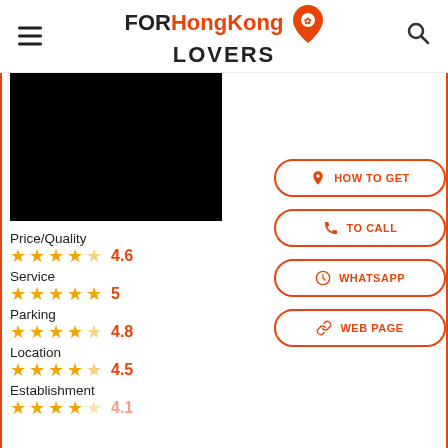FORHongKong LOVERS
[Figure (photo): Black image placeholder for a business/location photo]
Price/Quality
★★★★☆ 4.6
Service
★★★★★ 5
Parking
★★★★☆ 4.8
Location
★★★★☆ 4.5
Establishment
HOW TO GET
TO CALL
WHATSAPP
WEB PAGE